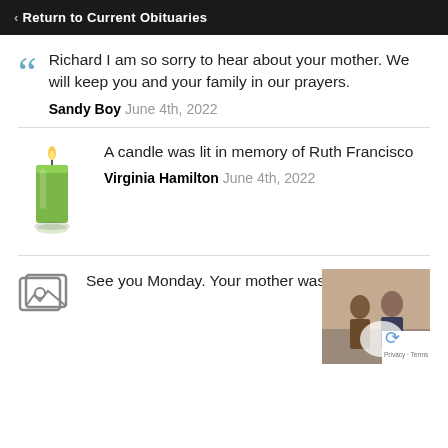< Return to Current Obituaries
Richard I am so sorry to hear about your mother. We will keep you and your family in our prayers.
Sandy Boy June 4th, 2022
[Figure (illustration): Green pillar candle with flame]
A candle was lit in memory of Ruth Francisco
Virginia Hamilton June 4th, 2022
[Figure (illustration): Image placeholder icon]
See you Monday. Your mother was a great lady.
[Figure (photo): Small thumbnail photo of people]